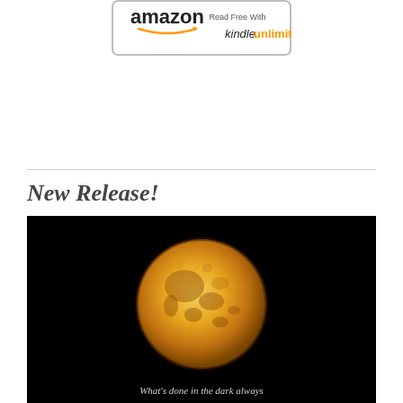[Figure (logo): Amazon Kindle Unlimited badge reading 'Read Free With kindleunlimited']
New Release!
[Figure (photo): Full moon photograph against a black night sky background, golden/amber colored moon showing surface details and craters. Text at bottom reads 'What's done in the dark always']